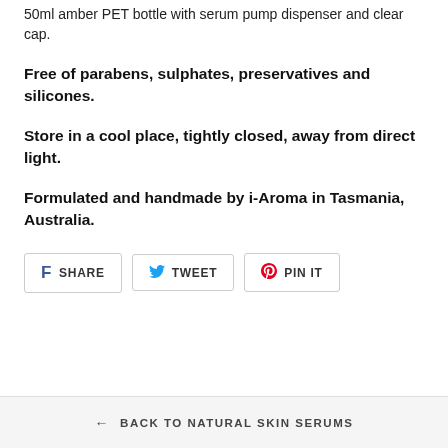50ml amber PET bottle with serum pump dispenser and clear cap.
Free of parabens, sulphates, preservatives and silicones.
Store in a cool place, tightly closed, away from direct light.
Formulated and handmade by i-Aroma in Tasmania, Australia.
[Figure (other): Social sharing buttons: SHARE (Facebook), TWEET (Twitter), PIN IT (Pinterest)]
← BACK TO NATURAL SKIN SERUMS